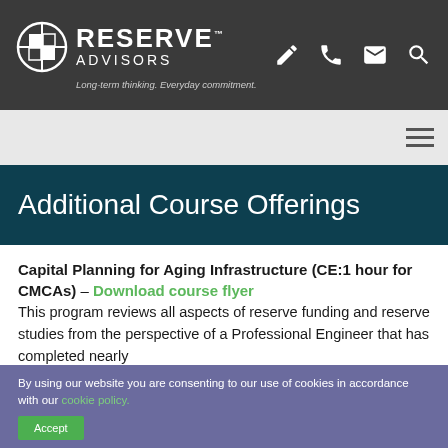[Figure (logo): Reserve Advisors logo with circular crosshair icon and text 'RESERVE ADVISORS' with tagline 'Long-term thinking. Everyday commitment.']
Additional Course Offerings
Capital Planning for Aging Infrastructure (CE:1 hour for CMCAs) – Download course flyer
This program reviews all aspects of reserve funding and reserve studies from the perspective of a Professional Engineer that has completed nearly
By using our website you are consenting to our use of cookies in accordance with our cookie policy.